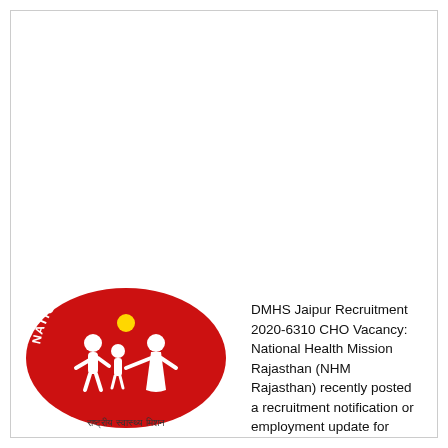[Figure (logo): National Health Mission logo — red oval with white silhouette figures of a family (man, woman, child) holding hands and a yellow sun, with text 'NATIONAL HEALTH MISSION' arched around the top and 'राष्ट्रीय स्वास्थ्य मिशन' at the bottom]
DMHS Jaipur Recruitment 2020-6310 CHO Vacancy: National Health Mission Rajasthan (NHM Rajasthan) recently posted a recruitment notification or employment update for